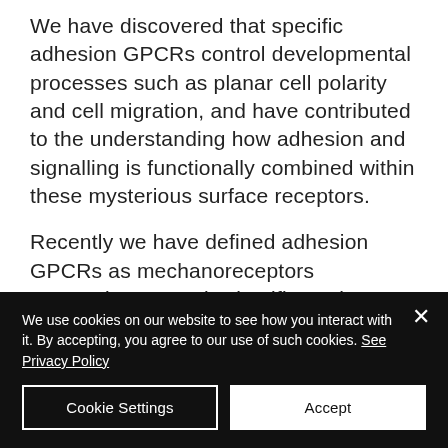We have discovered that specific adhesion GPCRs control developmental processes such as planar cell polarity and cell migration, and have contributed to the understanding how adhesion and signalling is functionally combined within these mysterious surface receptors.
Recently we have defined adhesion GPCRs as mechanoreceptors suggesting a novel scientific angle to study and understand their
We use cookies on our website to see how you interact with it. By accepting, you agree to our use of such cookies. See Privacy Policy